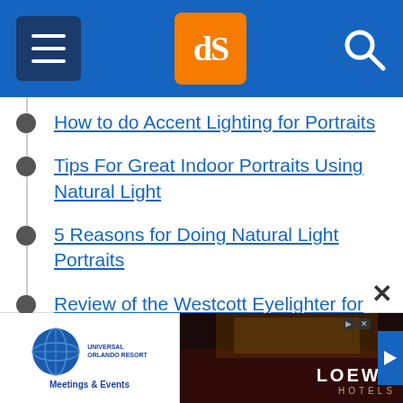dPS logo navigation header
How to do Accent Lighting for Portraits
Tips For Great Indoor Portraits Using Natural Light
5 Reasons for Doing Natural Light Portraits
Review of the Westcott Eyelighter for Headshots and Portraits
How to Use Angle of Light in People Photography for Added Punch
High Speed Sync Versus a Neutral Density Filter to Overcome Bright Sunlight in Portraits
[Figure (screenshot): Universal Orlando Resort Meetings & Events advertisement banner with Loews Hotels]